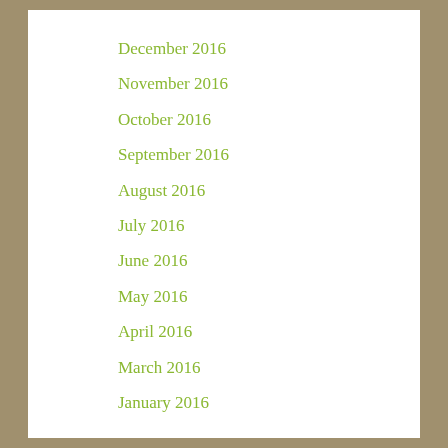December 2016
November 2016
October 2016
September 2016
August 2016
July 2016
June 2016
May 2016
April 2016
March 2016
January 2016